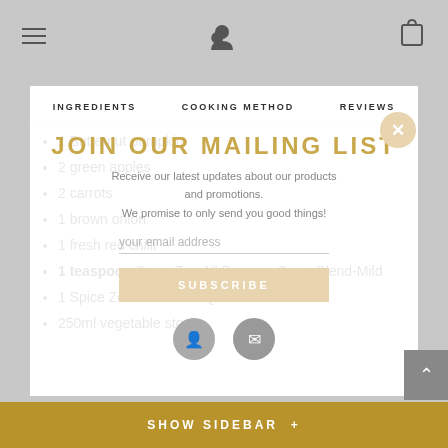Navigation bar with hamburger menu, user icon, and cart icon
INGREDIENTS
COOKING METHOD
REVIEWS
JOIN OUR MAILING LIST
Receive our latest updates about our products and promotions.
We promise to only send you good things!
1 Butternut pumpkin
2 green apples
2 carrots
1 brown onion
1 fresh red chilli
1 teaspoon Spice Zen All Purpose Spice Blend-Mild
1 Spice Zen Cinnamon Quill
250ml vegetable stock
SHOW SIDEBAR +